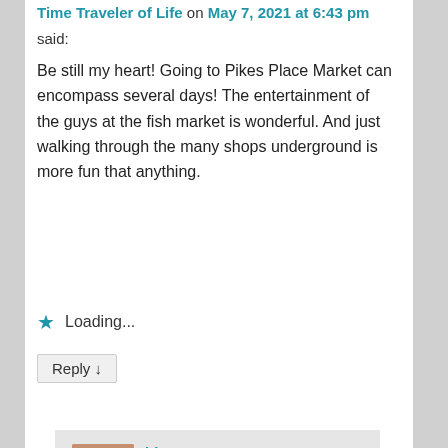Time Traveler of Life on May 7, 2021 at 6:43 pm
said:
Be still my heart! Going to Pikes Place Market can encompass several days! The entertainment of the guys at the fish market is wonderful. And just walking through the many shops underground is more fun that anything.
Loading...
Reply ↓
bleuwater on May 7, 2021 at 6:45 pm said:
I love it there. I grew up in a small town outside Seattle. One of my mom's biggest
Advertisements